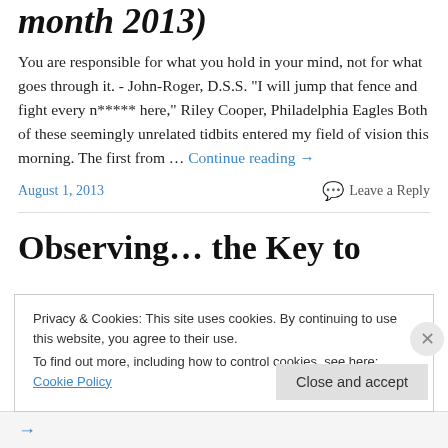month 2013)
You are responsible for what you hold in your mind, not for what goes through it. - John-Roger, D.S.S. "I will jump that fence and fight every n***** here," Riley Cooper, Philadelphia Eagles Both of these seemingly unrelated tidbits entered my field of vision this morning. The first from … Continue reading →
August 1, 2013    💬 Leave a Reply
Observing… the Key to
Privacy & Cookies: This site uses cookies. By continuing to use this website, you agree to their use.
To find out more, including how to control cookies, see here: Cookie Policy
Close and accept